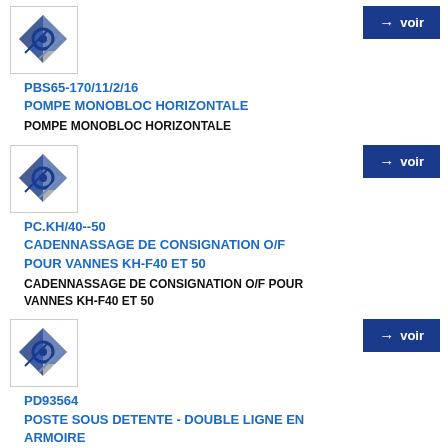[Figure (logo): Product logo with diamond and circle design in blue and grey]
→ voir
PBS65-170/11/2/16
POMPE MONOBLOC HORIZONTALE
POMPE MONOBLOC HORIZONTALE
[Figure (logo): Product logo with diamond and circle design in blue and grey]
→ voir
PC.KH/40--50
CADENNASSAGE DE CONSIGNATION O/F POUR VANNES KH-F40 ET 50
CADENNASSAGE DE CONSIGNATION O/F POUR VANNES KH-F40 ET 50
[Figure (logo): Product logo with diamond and circle design in blue and grey]
→ voir
PD93564
POSTE SOUS DETENTE - DOUBLE LIGNE EN ARMOIRE